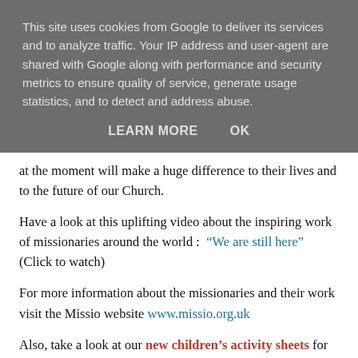This site uses cookies from Google to deliver its services and to analyze traffic. Your IP address and user-agent are shared with Google along with performance and security metrics to ensure quality of service, generate usage statistics, and to detect and address abuse.
LEARN MORE   OK
at the moment will make a huge difference to their lives and to the future of our Church.
Have a look at this uplifting video about the inspiring work of missionaries around the world :  “We are still here” (Click to watch)
For more information about the missionaries and their work visit the Missio website www.missio.org.uk
Also, take a look at our new children’s activity sheets for every Sunday in October, which are available on the World Mission Sunday page www.missio.org.uk/wms
Pope Francis encourages us to hope and trust in the Lord. In